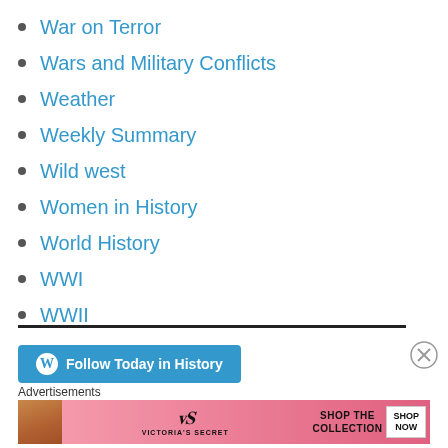War on Terror
Wars and Military Conflicts
Weather
Weekly Summary
Wild west
Women in History
World History
WWI
WWII
Follow Today in History
Advertisements